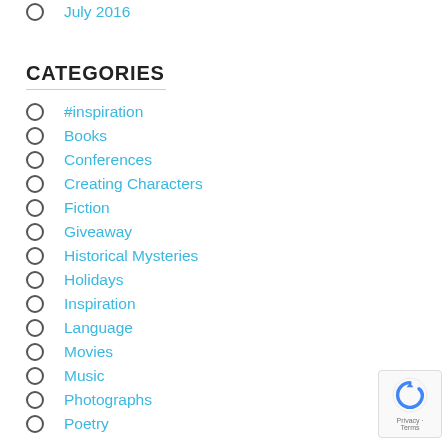July 2016
CATEGORIES
#inspiration
Books
Conferences
Creating Characters
Fiction
Giveaway
Historical Mysteries
Holidays
Inspiration
Language
Movies
Music
Photographs
Poetry